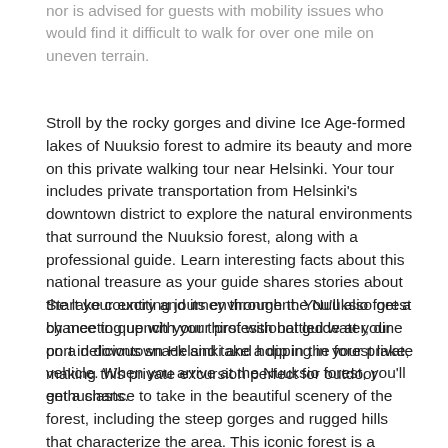nor is advised for guests with mobility issues who would find it difficult to walk for over one mile on uneven terrain.
Stroll by the rocky gorges and divine Ice Age-formed lakes of Nuuksio forest to admire its beauty and more on this private walking tour near Helsinki. Your tour includes private transportation from Helsinki's downtown district to explore the natural environments that surround the Nuuksio forest, along with a professional guide. Learn interesting facts about this national treasure as your guide shares stories about the lake country and its environment. You'll also get a chance to quench your thirst with bottled water, dine on a delicious snack and take a dip in the forest lake, making this private excursion perfect for outdoor enthusiasts.
Start your exciting journey through the Nuuksio forest by meeting up with your professional guide at your port in downtown Helsinki and hopping in your private vehicle. When you arrive at the Nuuksio forest, you'll get a chance to take in the beautiful scenery of the forest, including the steep gorges and rugged hills that characterize the area. This iconic forest is a hidden cove of natural beauty located within the Nuuksio National Park and juxtaposed near the urban habitat of Helsinki. Listen as your professional guide discusses how the forest and its deep lakes came